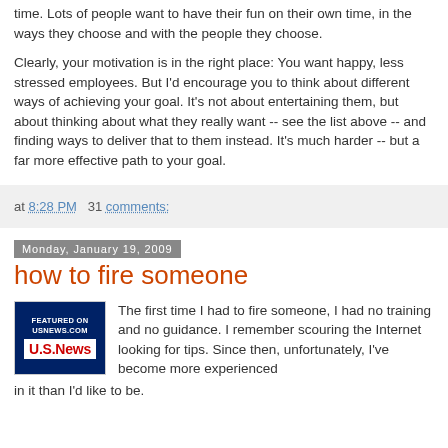time. Lots of people want to have their fun on their own time, in the ways they choose and with the people they choose.
Clearly, your motivation is in the right place: You want happy, less stressed employees. But I'd encourage you to think about different ways of achieving your goal. It's not about entertaining them, but about thinking about what they really want -- see the list above -- and finding ways to deliver that to them instead. It's much harder -- but a far more effective path to your goal.
at 8:28 PM   31 comments:
Monday, January 19, 2009
how to fire someone
[Figure (logo): Featured on USNEWS.COM U.S.News logo badge]
The first time I had to fire someone, I had no training and no guidance. I remember scouring the Internet looking for tips. Since then, unfortunately, I've become more experienced in it than I'd like to be.